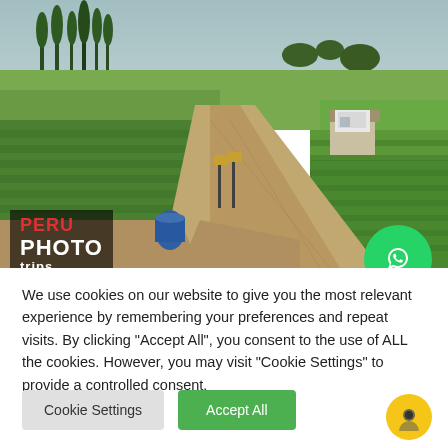[Figure (photo): Aerial/ground view of a dirt road cutting through vast green agricultural fields (likely asparagus crops) in Peru. Trees in background, overcast sky, a white truck visible near a building. Peru Photo Trips logo overlay in bottom-left corner.]
We use cookies on our website to give you the most relevant experience by remembering your preferences and repeat visits. By clicking "Accept All", you consent to the use of ALL the cookies. However, you may visit "Cookie Settings" to provide a controlled consent.